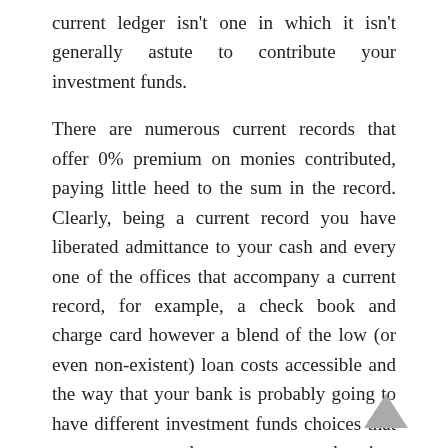current ledger isn't one in which it isn't generally astute to contribute your investment funds.
There are numerous current records that offer 0% premium on monies contributed, paying little heed to the sum in the record. Clearly, being a current record you have liberated admittance to your cash and every one of the offices that accompany a current record, for example, a check book and charge card however a blend of the low (or even non-existent) loan costs accessible and the way that your bank is probably going to have different investment funds choices that are more advantageous and just insignificantly less adaptable implies that you ought to falter prior to leaving something besides the absolute minimum in a current record.